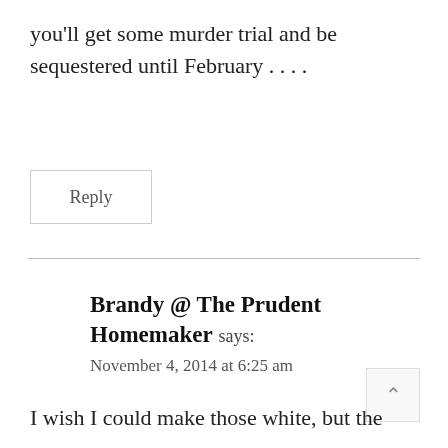you'll get some murder trial and be sequestered until February . . . .
Reply
Brandy @ The Prudent Homemaker says:
November 4, 2014 at 6:25 am
I wish I could make those white, but the